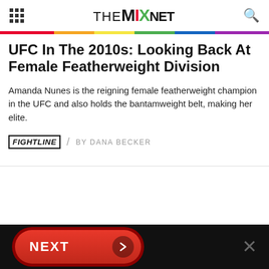THE MIX NET
UFC In The 2010s: Looking Back At Female Featherweight Division
Amanda Nunes is the reigning female featherweight champion in the UFC and also holds the bantamweight belt, making her elite.
FIGHTLINE / BY DANA BECKER